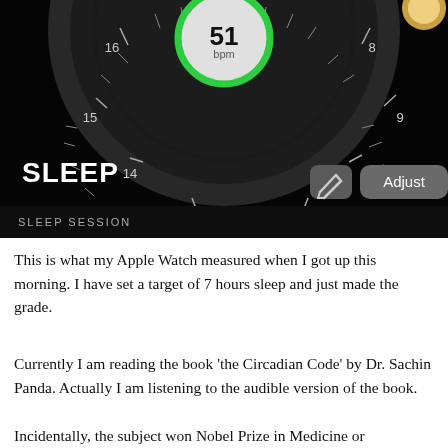[Figure (screenshot): Apple Watch sleep tracking app screenshot showing a circular dial with hour markers (8 through 16), a green-ringed circle in the center displaying '51 bpm', bold white text 'SLEEP' on bottom left, a pencil icon button and 'Adjust' button on the bottom right, and a 'SLEEP SESSION' label at the very bottom.]
This is what my Apple Watch measured when I got up this morning. I have set a target of 7 hours sleep and just made the grade.
Currently I am reading the book 'the Circadian Code' by Dr. Sachin Panda. Actually I am listening to the audible version of the book.
Incidentally, the subject won Nobel Prize in Medicine or Physiology in 2017. And remember the 2016 prize was for...